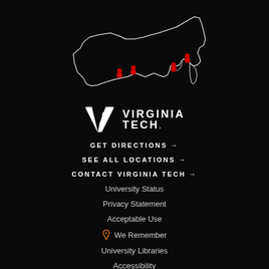[Figure (map): Outline map of Virginia with red location pin markers indicating Virginia Tech campus locations]
[Figure (logo): Virginia Tech logo with VT monogram and VIRGINIA TECH wordmark in white on black background]
GET DIRECTIONS →
SEE ALL LOCATIONS →
CONTACT VIRGINIA TECH →
University Status
Privacy Statement
Acceptable Use
🎗 We Remember
University Libraries
Accessibility